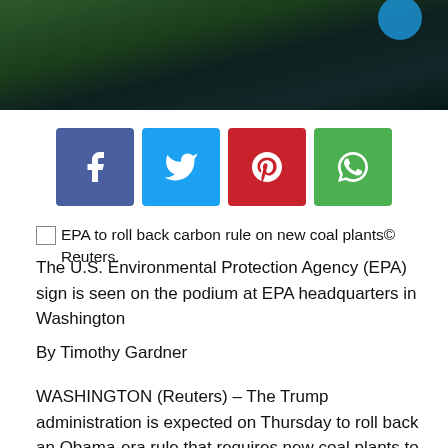[Figure (photo): Dark green/teal photograph strip at top of page]
[Figure (infographic): Social sharing buttons: Facebook (blue), Twitter (cyan), Pinterest (red), WhatsApp (green)]
EPA to roll back carbon rule on new coal plants© Reuters.
The U.S. Environmental Protection Agency (EPA) sign is seen on the podium at EPA headquarters in Washington
By Timothy Gardner
WASHINGTON (Reuters) – The Trump administration is expected on Thursday to roll back an Obama-era rule that requires new coal plants to capture their carbon emissions, a